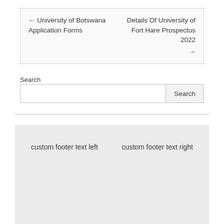← University of Botswana Application Forms
Details Of University of Fort Hare Prospectus 2022 →
Search
custom footer text left | custom footer text right